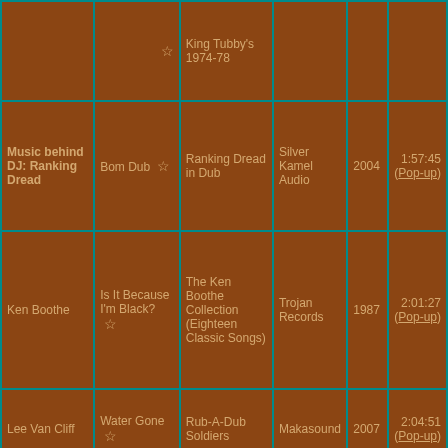| Artist | Album | Track | Label | Year | Time |
| --- | --- | --- | --- | --- | --- |
|  | ☆ | King Tubby's 1974-78 |  |  |  |
| Music behind DJ: Ranking Dread | Bom Dub ☆ | Ranking Dread in Dub | Silver Kamel Audio | 2004 | 1:57:45 (Pop-up) |
| Ken Boothe | Is It Because I'm Black? ☆ | The Ken Boothe Collection (Eighteen Classic Songs) | Trojan Records | 1987 | 2:01:27 (Pop-up) |
| Lee Van Cliff | Water Gone ☆ | Rub-A-Dub Soldiers | Makasound | 2007 | 2:04:51 (Pop-up) |
| Junior Byles | Heart and Soul ☆ | Scorchers from the Mighty Two | 17 North Parade / VP Records | 2008 | 2:08:07 (Pop-up) |
| Bob Marley & The Wailers | Thank You Lord ☆ | Wail 'n Soul'm Singles Selecta | Universal | 2005 | 2:11:49 (Pop-up) |
| Tenor Saw | Golden Hen ☆ | 600% Dynamite! | Soul Jazz Records | 2003 | 2:14:45 (Pop-up) |